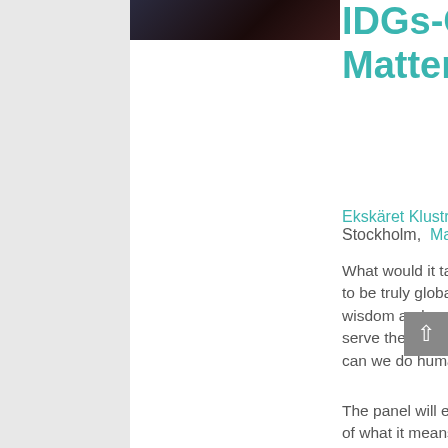[Figure (photo): Dark photograph, partially visible, appears to be a person or event image]
IDGs-Growth That Matters Gathering
Ekskäret Klustret
Stockholm,  Map
What would it take for the Inner Development Goals to be truly global? How can we learn from the wisdom and practices of Indigenous cultures to serve the flourishing of all humans? Indeed, “how can we do human better?”
The panel will explore participants’ understanding of what it means to be a human